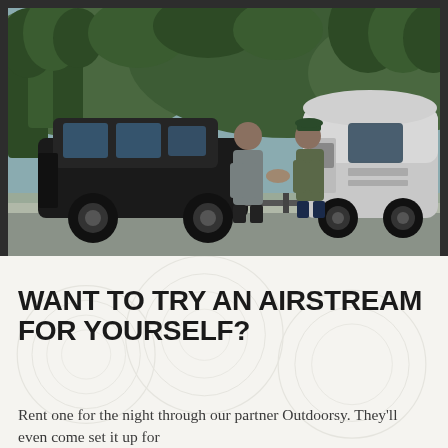[Figure (photo): Two men shaking hands outdoors next to a black Jeep towing a silver Airstream travel trailer. Trees and hills visible in the background on a paved road.]
WANT TO TRY AN AIRSTREAM FOR YOURSELF?
Rent one for the night through our partner Outdoorsy. They'll even come set it up for